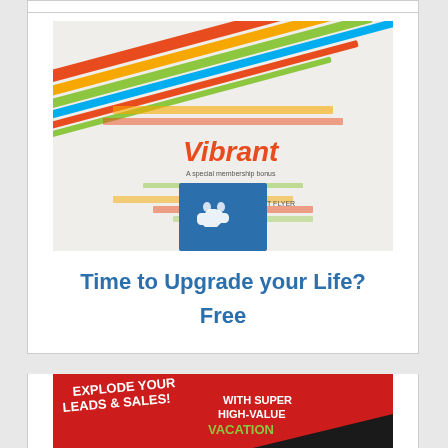[Figure (illustration): Top card stub - white card with grey border, partially visible at top of page]
[Figure (illustration): Middle card with Vibrant brand promotional image showing colorful diagonal stripes, Vibrant logo, a handshake icon on blue square background]
Time to Upgrade your Life?
Free
[Figure (illustration): Bottom card with promotional image: red and black background with text EXPLODE YOUR LEADS & SALES! WITH SUPER HIGH-VALUE VACATION INCENTIVES!]